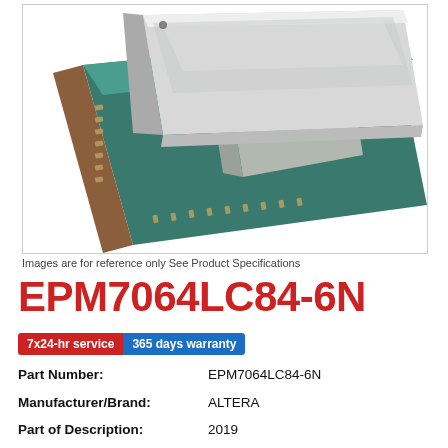[Figure (photo): Close-up photo of an FPGA/CPLD integrated circuit chip package showing a teal/green PCB substrate with a silver metallic lid on top, viewed at an angle.]
Images are for reference only See Product Specifications
EPM7064LC84-6N
7x24-hr service  365 days warranty
Part Number: EPM7064LC84-6N
Manufacturer/Brand: ALTERA
Part of Description: 2019